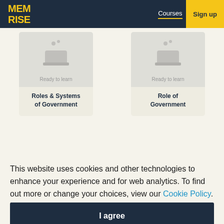MEM RiSE — Courses | Log in | Sign up
[Figure (screenshot): Course card with bowl icon — Ready to learn — Roles & Systems of Government]
[Figure (screenshot): Course card with bowl icon — Ready to learn — Role of Government]
This website uses cookies and other technologies to enhance your experience and for web analytics. To find out more or change your choices, view our Cookie Policy. By clicking I agree you consent to the use of such cookies.
I agree